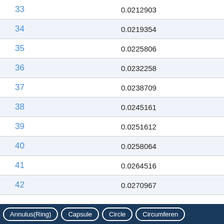|  |  |
| --- | --- |
| 33 | 0.0212903 |
| 34 | 0.0219354 |
| 35 | 0.0225806 |
| 36 | 0.0232258 |
| 37 | 0.0238709 |
| 38 | 0.0245161 |
| 39 | 0.0251612 |
| 40 | 0.0258064 |
| 41 | 0.0264516 |
| 42 | 0.0270967 |
Annulus(Ring)   Capsule   Circle   Circumference